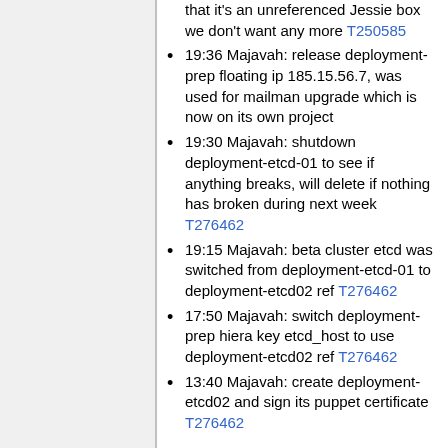that it's an unreferenced Jessie box we don't want any more T250585
19:36 Majavah: release deployment-prep floating ip 185.15.56.7, was used for mailman upgrade which is now on its own project
19:30 Majavah: shutdown deployment-etcd-01 to see if anything breaks, will delete if nothing has broken during next week T276462
19:15 Majavah: beta cluster etcd was switched from deployment-etcd-01 to deployment-etcd02 ref T276462
17:50 Majavah: switch deployment-prep hiera key etcd_host to use deployment-etcd02 ref T276462
13:40 Majavah: create deployment-etcd02 and sign its puppet certificate T276462